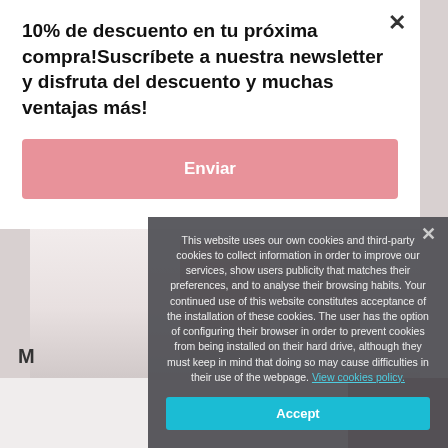10% de descuento en tu próxima compra!Suscríbete a nuestra newsletter y disfruta del descuento y muchas ventajas más!
Enviar
[Figure (photo): Fashion photo showing lower body of a woman in a floral dress with gold/rose heeled sandals against a light background]
This website uses our own cookies and third-party cookies to collect information in order to improve our services, show users publicity that matches their preferences, and to analyse their browsing habits. Your continued use of this website constitutes acceptance of the installation of these cookies. The user has the option of configuring their browser in order to prevent cookies from being installed on their hard drive, although they must keep in mind that doing so may cause difficulties in their use of the webpage. View cookies policy.
Accept